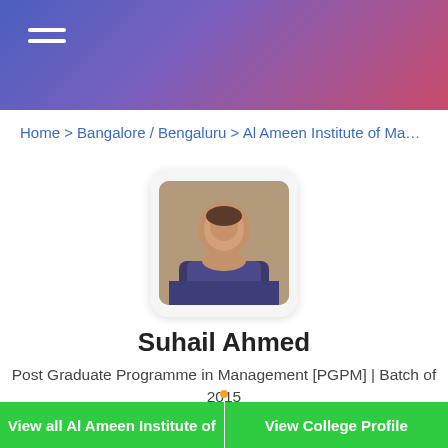[Figure (other): Website header banner with gradient background (blue to pink/red) and hamburger menu icon in top left]
Home > Bangalore / Bengaluru > Al Ameen Institute of Manager
[Figure (photo): Profile photo of Suhail Ahmed, a young man in a plaid shirt, displayed in a rounded square card]
Suhail Ahmed
Post Graduate Programme in Management [PGPM] | Batch of 2015
Suhail Ahmed's Review on Al Ameen Institute of Management Studies, Bangalore
View all Al Ameen Institute of
View College Profile